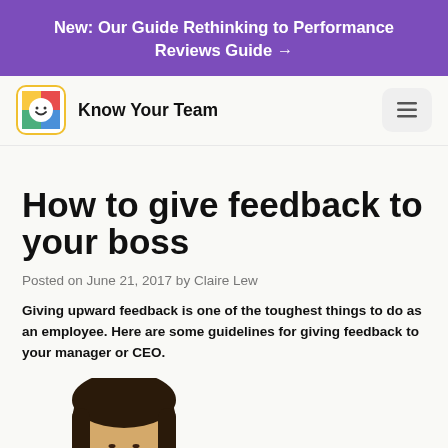New: Our Guide Rethinking to Performance Reviews Guide →
[Figure (logo): Know Your Team logo with smiley face icon and brand name]
How to give feedback to your boss
Posted on June 21, 2017 by Claire Lew
Giving upward feedback is one of the toughest things to do as an employee. Here are some guidelines for giving feedback to your manager or CEO.
[Figure (illustration): Illustrated cartoon of a person with dark hair — a character representing someone giving feedback to their boss]